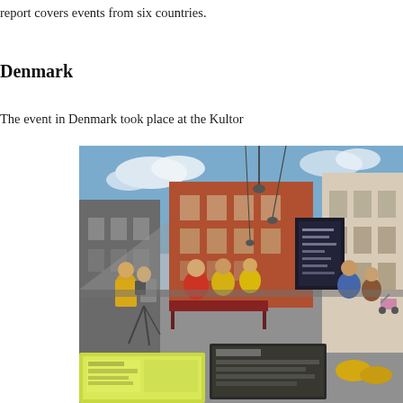report covers events from six countries.
Denmark
The event in Denmark took place at the Kultor
[Figure (photo): Outdoor street scene in Denmark (likely Copenhagen). People wearing yellow shirts are gathered around a table on a pedestrian street. Informational posters and pamphlets are displayed on the ground in the foreground. Historic brick buildings line the street in the background under a blue sky.]